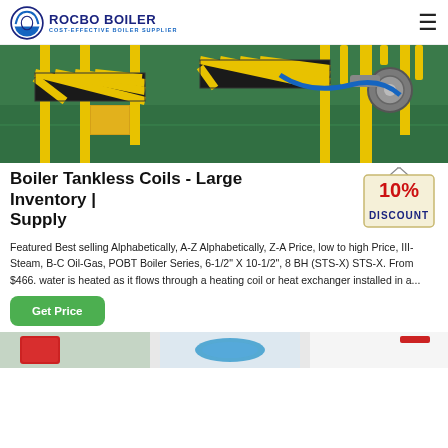ROCBO BOILER - COST-EFFECTIVE BOILER SUPPLIER
[Figure (photo): Industrial boiler manufacturing facility with yellow steel structures, black and yellow safety striped barriers, green epoxy floor, and industrial equipment]
Boiler Tankless Coils - Large Inventory | Supply
[Figure (infographic): 10% DISCOUNT badge/tag graphic in red and blue on a cream/paper background with string hanger]
Featured Best selling Alphabetically, A-Z Alphabetically, Z-A Price, low to high Price, III-Steam, B-C Oil-Gas, POBT Boiler Series, 6-1/2" X 10-1/2", 8 BH (STS-X) STS-X. From $466. water is heated as it flows through a heating coil or heat exchanger installed in a...
[Figure (photo): Partial view of industrial boiler equipment — bottom strip showing red and blue colored boiler components on white background]